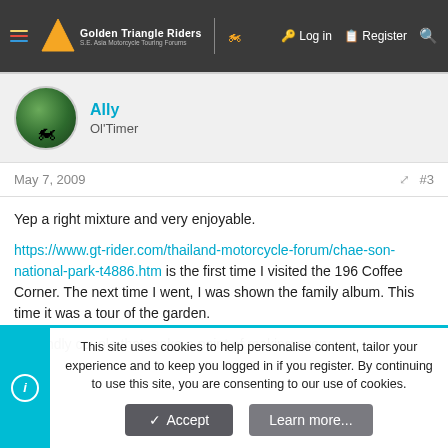Golden Triangle Riders — S.E. Asia Motorcycle Touring Forums | Log in | Register
[Figure (screenshot): Forum user avatar — circular photo showing green foliage and a motorcycle]
Ally
Ol'Timer
May 7, 2009  #3
Yep a right mixture and very enjoyable.

https://www.gt-rider.com/thailand-motorcycle-forum/chae-son-national-park-t4886.htm is the first time I visited the 196 Coffee Corner. The next time I went, I was shown the family album. This time it was a tour of the garden.

A friendly couple that make a point of making everyone
This site uses cookies to help personalise content, tailor your experience and to keep you logged in if you register. By continuing to use this site, you are consenting to our use of cookies.